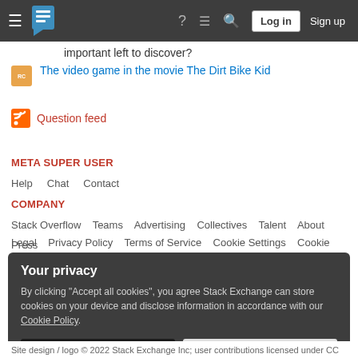≡ [Stack Exchange logo] ? ≡ 🔍 Log in  Sign up
important left to discover?
The video game in the movie The Dirt Bike Kid
Question feed
META SUPER USER
Help  Chat  Contact
COMPANY
Stack Overflow  Teams  Advertising  Collectives  Talent  About  Press
Legal  Privacy Policy  Terms of Service  Cookie Settings  Cookie Policy
Your privacy
By clicking "Accept all cookies", you agree Stack Exchange can store cookies on your device and disclose information in accordance with our Cookie Policy.
Accept all cookies   Customize settings
Site design / logo © 2022 Stack Exchange Inc; user contributions licensed under CC